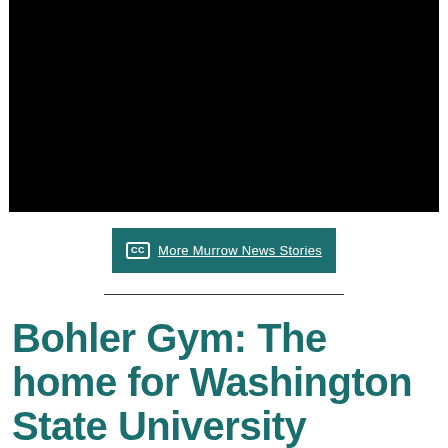[Figure (photo): Black video player embed area, a dark/black rectangle taking up the top portion of the page]
More Murrow News Stories
Bohler Gym: The home for Washington State University Volleyball